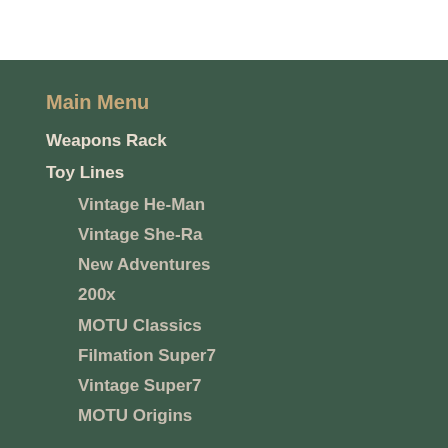Main Menu
Weapons Rack
Toy Lines
Vintage He-Man
Vintage She-Ra
New Adventures
200x
MOTU Classics
Filmation Super7
Vintage Super7
MOTU Origins